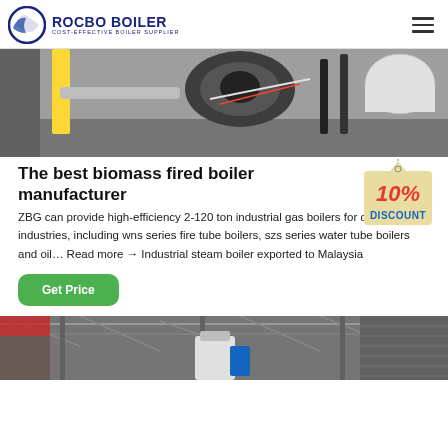ROCBO BOILER - COST-EFFECTIVE BOILER SUPPLIER
[Figure (photo): Industrial boiler machinery close-up with yellow pipe and mechanical components in a workshop setting]
The best biomass fired boiler manufacturer
[Figure (infographic): 10% DISCOUNT badge/tag graphic with red text on a beige ticket-shaped background]
ZBG can provide high-efficiency 2-120 ton industrial gas boilers for different industries, including wns series fire tube boilers, szs series water tube boilers and oil… Read more → Industrial steam boiler exported to Malaysia
Get Price
[Figure (photo): Industrial facility interior with boiler equipment, structural columns and overhead lighting]